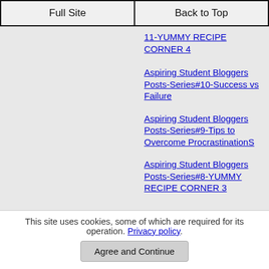Full Site | Back to Top
11-YUMMY RECIPE CORNER 4
Aspiring Student Bloggers Posts-Series#10-Success vs Failure
Aspiring Student Bloggers Posts-Series#9-Tips to Overcome ProcrastinationS
Aspiring Student Bloggers Posts-Series#8-YUMMY RECIPE CORNER 3
Aspiring Student Bloggers Posts-Series#7-Procrastination to Productive-Sumi Singh-1st sem-AIMS
Aspiring Student Bloggers Posts-Series#6-YUMMY RECIPE CORNER 2; ALOO KA HALWA
Aspiring Student Bloggers Posts-Series#5-FASHION WITH PASSION-SANGITA BHAGAT-FIRST YEAR MBA
This site uses cookies, some of which are required for its operation. Privacy policy.
Agree and Continue